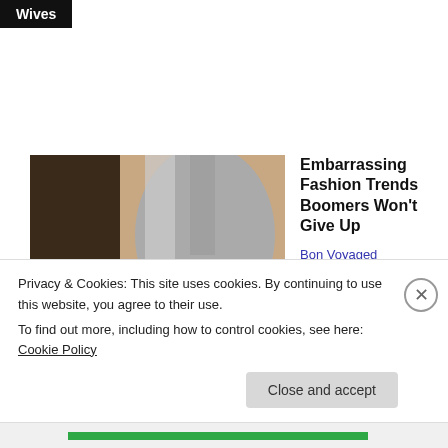Wives
[Figure (photo): Woman with silver/grey highlighted hair, tan skin, posing for selfie portrait]
Embarrassing Fashion Trends Boomers Won't Give Up
Bon Voyaged
[Figure (photo): Woman in gold glamorous dress, dark background, posing]
RHODubai: Chanel Ayan reveals she was circumcised at 5 years old, says it's her 'mission' to...
The Grio
Privacy & Cookies: This site uses cookies. By continuing to use this website, you agree to their use.
To find out more, including how to control cookies, see here: Cookie Policy
Close and accept